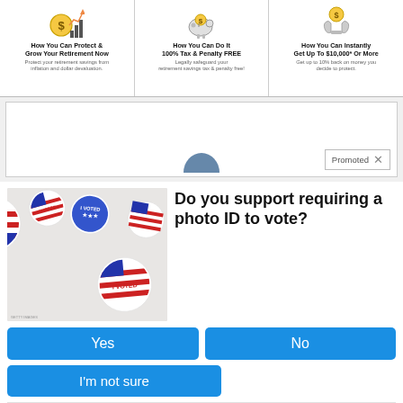[Figure (infographic): Three-panel advertisement banner showing retirement savings icons with text about protecting and growing retirement, tax-free options, and getting up to $10,000 or more.]
[Figure (infographic): Promoted ad placeholder box with a partially visible profile image and a 'Promoted X' label in the bottom right corner.]
[Figure (photo): Photo of multiple 'I Voted' stickers with American flag design scattered on a white surface.]
Do you support requiring a photo ID to vote?
Yes
No
I'm not sure
24,044 Votes  •  Sponsored Ad